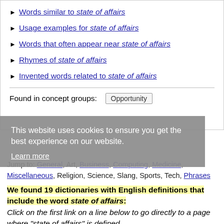Words similar to state of affairs
Usage examples for state of affairs
Words that often appear near state of affairs
Rhymes of state of affairs
Invented words related to state of affairs
Found in concept groups: Opportunity
This website uses cookies to ensure you get the best experience on our website. Learn more
Jump to: General, Art, Business, Computing, Medicine, Miscellaneous, Religion, Science, Slang, Sports, Tech, Phrases
We found 19 dictionaries with English definitions that include the word state of affairs: Click on the first link on a line below to go directly to a page where "state of affairs" is defined.